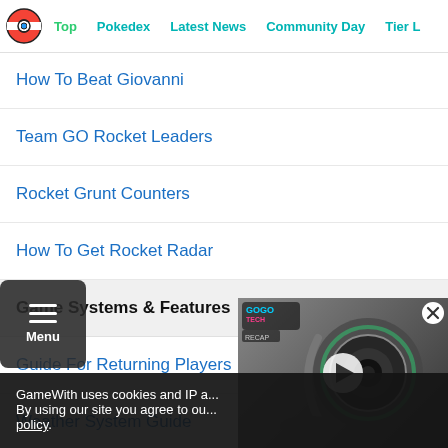Top | Pokedex | Latest News | Community Day | Tier L...
How To Beat Giovanni
Team GO Rocket Leaders
Rocket Grunt Counters
How To Get Rocket Radar
Game Systems & Features
Guide For Returning Players
Weather System Guide
How To Get & Use TMs
What Are Shiny Pokemon
[Figure (screenshot): Video overlay showing a camera/webcam product on a dark background with a play button, labeled with a gaming tech channel logo]
GameWith uses cookies and IP a...
By using our site you agree to ou...
policy.